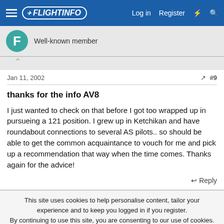FlightInfo — Log in | Register
Well-known member
Jan 11, 2002  #9
thanks for the info AV8
I just wanted to check on that before I got too wrapped up in pursueing a 121 position. I grew up in Ketchikan and have roundabout connections to several AS pilots.. so should be able to get the common acquaintance to vouch for me and pick up a recommendation that way when the time comes. Thanks again for the advice!
↩ Reply
This site uses cookies to help personalise content, tailor your experience and to keep you logged in if you register.
By continuing to use this site, you are consenting to our use of cookies.
✓ Accept   Learn more…